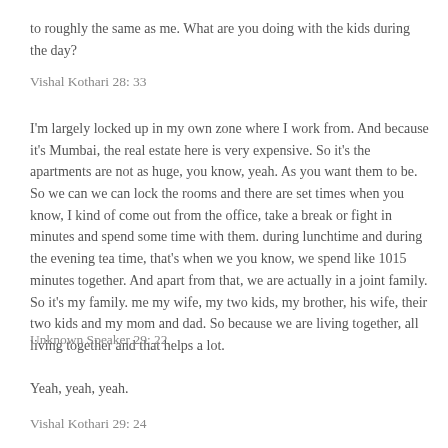to roughly the same as me. What are you doing with the kids during the day?
Vishal Kothari 28: 33
I'm largely locked up in my own zone where I work from. And because it's Mumbai, the real estate here is very expensive. So it's the apartments are not as huge, you know, yeah. As you want them to be. So we can we can lock the rooms and there are set times when you know, I kind of come out from the office, take a break or fight in minutes and spend some time with them. during lunchtime and during the evening tea time, that's when we you know, we spend like 1015 minutes together. And apart from that, we are actually in a joint family. So it's my family. me my wife, my two kids, my brother, his wife, their two kids and my mom and dad. So because we are living together, all living together and that helps a lot.
Unknown Speaker 29: 22
Yeah, yeah, yeah.
Vishal Kothari 29: 24